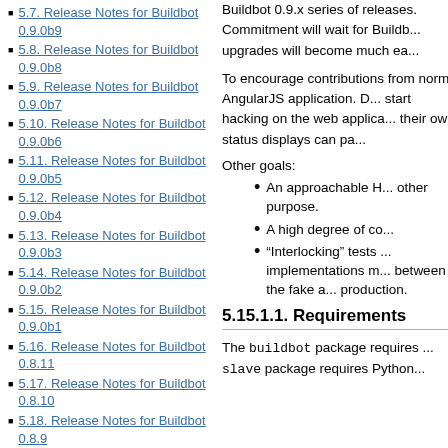5.7. Release Notes for Buildbot 0.9.0b9
5.8. Release Notes for Buildbot 0.9.0b8
5.9. Release Notes for Buildbot 0.9.0b7
5.10. Release Notes for Buildbot 0.9.0b6
5.11. Release Notes for Buildbot 0.9.0b5
5.12. Release Notes for Buildbot 0.9.0b4
5.13. Release Notes for Buildbot 0.9.0b3
5.14. Release Notes for Buildbot 0.9.0b2
5.15. Release Notes for Buildbot 0.9.0b1
5.16. Release Notes for Buildbot 0.8.11
5.17. Release Notes for Buildbot 0.8.10
5.18. Release Notes for Buildbot 0.8.9
5.19. Release Notes for Buildbot v0.8.8
5.20. Release Notes for Buildbot v0.8.7
5.21. Release Notes for Buildbot v0.8.6p1
Buildbot 0.9.x series of releases. Commitment will wait for Buildbot upgrades will become much ea...
To encourage contributions from normal AngularJS application. D... start hacking on the web applica... their own status displays can pa...
Other goals:
An approachable H... other purpose.
A high degree of co...
“Interlocking” tests ... implementations m... between the fake a... production.
5.15.1.1. Requirements
The buildbot package requires ... slave package requires Python...